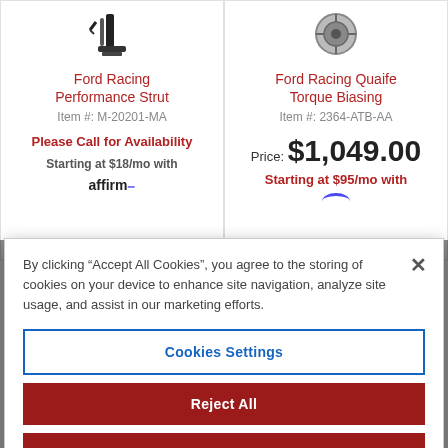[Figure (photo): Product image of Ford Racing Performance Strut (partial, top of image cropped)]
Ford Racing Performance Strut
Item #: M-20201-MA
Please Call for Availability
Starting at $18/mo with
[Figure (logo): Affirm logo]
[Figure (photo): Product image of Ford Racing Quaife Torque Biasing (partial, top of image cropped)]
Ford Racing Quaife Torque Biasing
Item #: 2364-ATB-AA
Price: $1,049.00
Starting at $95/mo with
[Figure (logo): Affirm logo (partial)]
By clicking "Accept All Cookies", you agree to the storing of cookies on your device to enhance site navigation, analyze site usage, and assist in our marketing efforts.
Cookies Settings
Reject All
Accept All Cookies